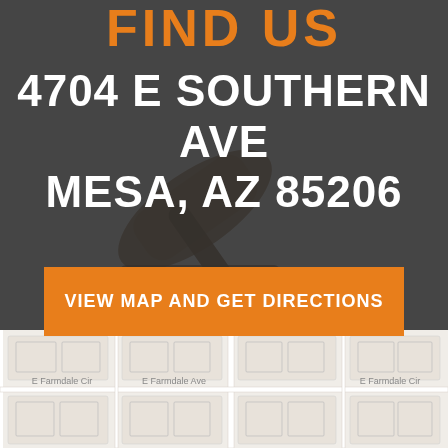FIND US
4704 E SOUTHERN AVE
MESA, AZ 85206
VIEW MAP AND GET DIRECTIONS
[Figure (map): Street map showing area near E Farmdale Cir and E Farmdale Ave, with residential blocks and streets visible.]